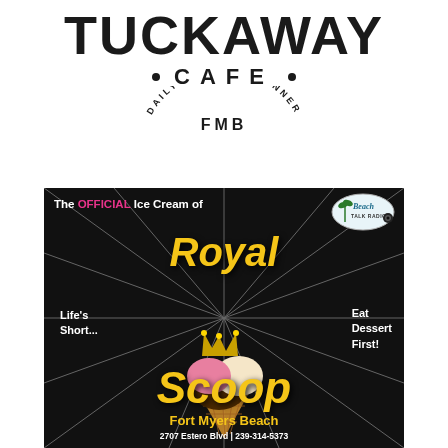[Figure (logo): Tuckaway Cafe FMB logo with large bold TUCKAWAY text, CAFE with dots on either side, and circular arc text reading DAILY BRUNCH & DINNER with FMB in the center]
[Figure (infographic): Royal Scoop ice cream advertisement on black background. Text: 'The OFFICIAL Ice Cream of [Beach Talk Radio logo]', 'Royal' in large yellow italic text, image of ice cream cone with crown, 'Life's Short...' on left, 'Eat Dessert First!' on right, 'Scoop' in large yellow italic text, 'Fort Myers Beach' in yellow, address at bottom: 2707 Estero Blvd | 239-314-5373]